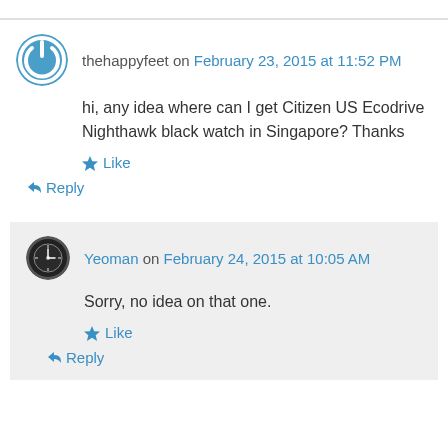thehappyfeet on February 23, 2015 at 11:52 PM
hi, any idea where can I get Citizen US Ecodrive Nighthawk black watch in Singapore? Thanks
Like
Reply
Yeoman on February 24, 2015 at 10:05 AM
Sorry, no idea on that one.
Like
Reply